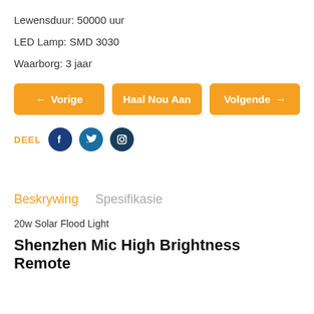Lewensduur: 50000 uur
LED Lamp: SMD 3030
Waarborg: 3 jaar
[Figure (infographic): Three orange navigation buttons: '← Vorige', 'Haal Nou Aan', 'Volgende →']
DEEL with Facebook, Twitter, Instagram social icons
Beskrywing   Spesifikasie
20w Solar Flood Light
Shenzhen Mic High Brightness Remote